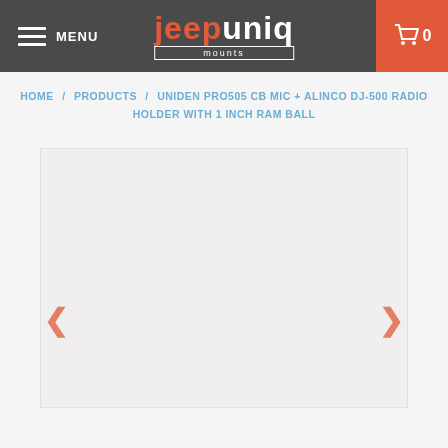MENU | jeepuniq mounts | 0
HOME / PRODUCTS / UNIDEN PRO505 CB MIC + ALINCO DJ-500 RADIO HOLDER WITH 1 INCH RAM BALL
[Figure (photo): Product image area placeholder with left and right navigation arrows]